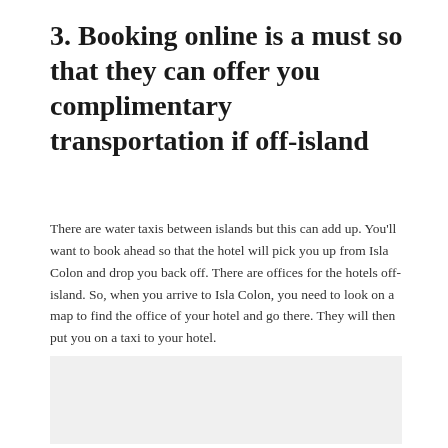3. Booking online is a must so that they can offer you complimentary transportation if off-island
There are water taxis between islands but this can add up. You'll want to book ahead so that the hotel will pick you up from Isla Colon and drop you back off. There are offices for the hotels off-island. So, when you arrive to Isla Colon, you need to look on a map to find the office of your hotel and go there. They will then put you on a taxi to your hotel.
[Figure (photo): Image placeholder (light gray rectangle)]